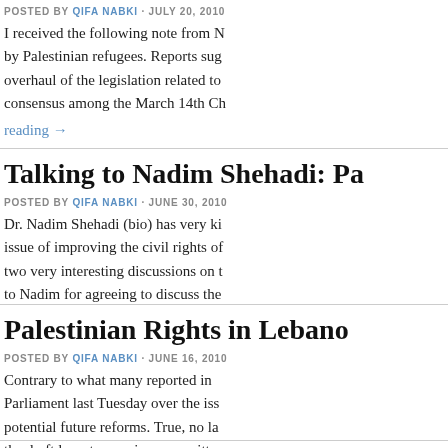POSTED BY QIFA NABKI · JULY 20, 2010
I received the following note from N... by Palestinian refugees. Reports sug... overhaul of the legislation related to... consensus among the March 14th Ch...
reading →
Talking to Nadim Shehadi: Pa...
POSTED BY QIFA NABKI · JUNE 30, 2010
Dr. Nadim Shehadi (bio) has very ki... issue of improving the civil rights of... two very interesting discussions on t... to Nadim for agreeing to discuss the...
Palestinian Rights in Lebano...
POSTED BY QIFA NABKI · JUNE 16, 2010
Contrary to what many reported in... Parliament last Tuesday over the iss... potential future reforms. True, no la... the draft laws to a review committe...